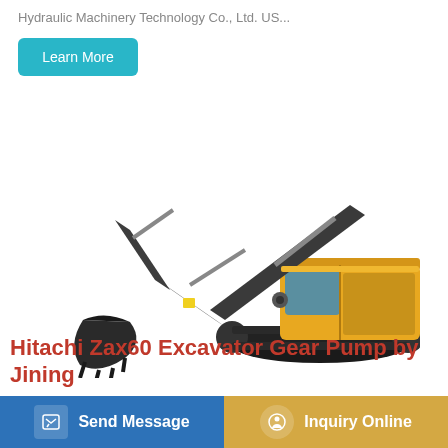Hydraulic Machinery Technology Co., Ltd. US...
Learn More
[Figure (photo): Volvo tracked excavator with extended boom arm against white background]
Hitachi Zax60 Excavator Gear Pump by Jining
Send Message
Inquiry Online